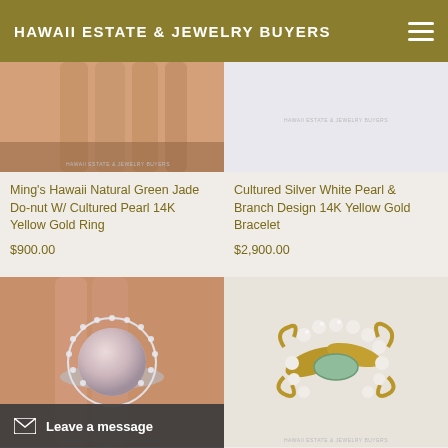HAWAII ESTATE & JEWELRY BUYERS
[Figure (photo): Close-up photo of a hand/fingers wearing a ring, cropped at top]
[Figure (photo): Light background with Hawaii Estate & Jewelry Buyers watermark text]
Ming's Hawaii Natural Green Jade Do-nut W/ Cultured Pearl 14K Yellow Gold Ring
$900.00
Cultured Silver White Pearl & Branch Design 14K Yellow Gold Bracelet
$2,900.00
[Figure (photo): Ring with large mabe pearl surrounded by diamond halo on a hand]
[Figure (photo): Gold brooch with jade center stone and cultured pearl accents on leafy branch motif]
Leave a message